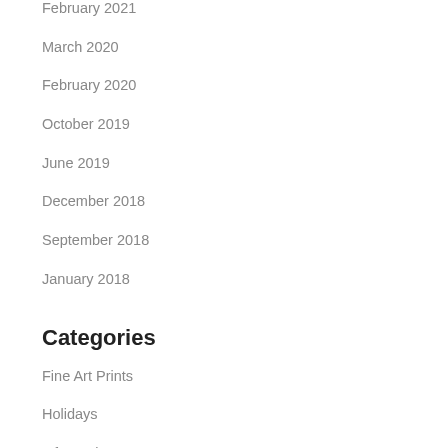February 2021
March 2020
February 2020
October 2019
June 2019
December 2018
September 2018
January 2018
Categories
Fine Art Prints
Holidays
Informative
Shop
Uncategorized